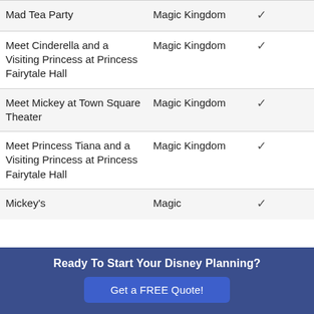| Attraction | Location | Included |
| --- | --- | --- |
| Mad Tea Party | Magic Kingdom | ✓ |
| Meet Cinderella and a Visiting Princess at Princess Fairytale Hall | Magic Kingdom | ✓ |
| Meet Mickey at Town Square Theater | Magic Kingdom | ✓ |
| Meet Princess Tiana and a Visiting Princess at Princess Fairytale Hall | Magic Kingdom | ✓ |
| Mickey's | Magic | ✓ |
Ready To Start Your Disney Planning?
Get a FREE Quote!